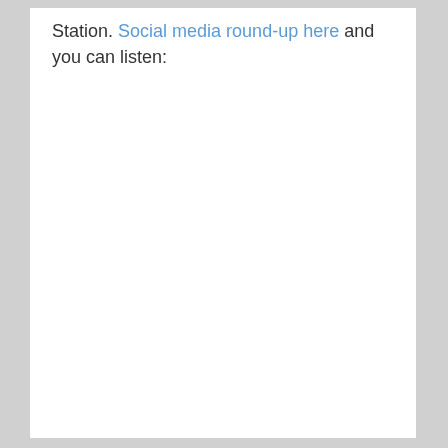Station. Social media round-up here and you can listen: